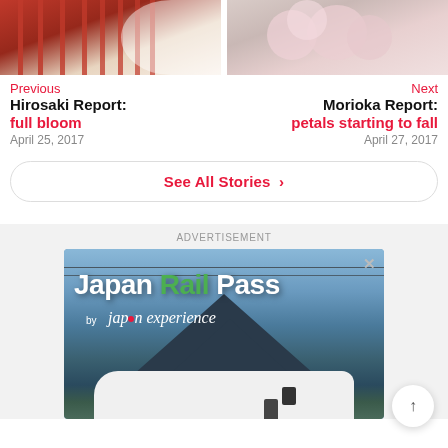[Figure (photo): Two side-by-side photos: left shows red torii gates with white cherry blossoms, right shows close-up of pink cherry blossom flowers]
Previous
Next
Hirosaki Report:
full bloom
April 25, 2017
Morioka Report:
petals starting to fall
April 27, 2017
See All Stories ›
ADVERTISEMENT
[Figure (photo): Japan Rail Pass advertisement banner showing a shinkansen bullet train with Mount Fuji in background. Text reads 'Japan Rail Pass by japan experience'. Close button (X) in top right corner.]